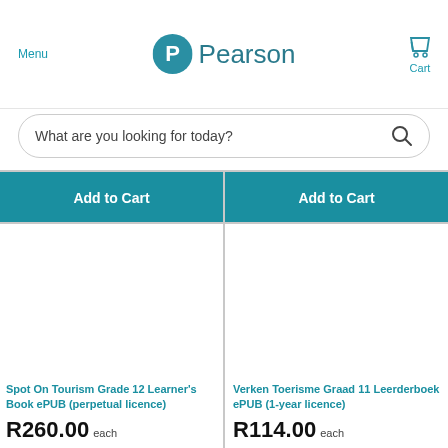Pearson
Menu
Cart
What are you looking for today?
Add to Cart
Add to Cart
[Figure (other): Product image placeholder for Spot On Tourism Grade 12 Learner's Book ePUB]
Spot On Tourism Grade 12 Learner's Book ePUB (perpetual licence)
R260.00 each
[Figure (other): Product image placeholder for Verken Toerisme Graad 11 Leerderboek ePUB]
Verken Toerisme Graad 11 Leerderboek ePUB (1-year licence)
R114.00 each